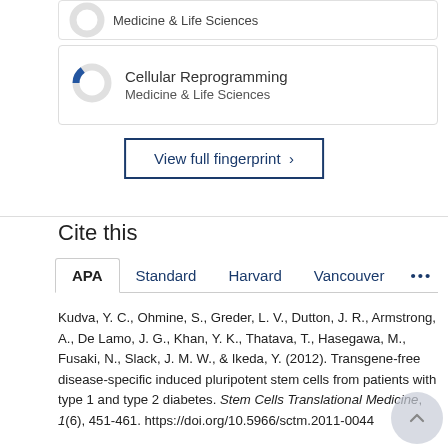[Figure (donut-chart): Partial donut chart icon for Medicine & Life Sciences (top card, partially visible)]
Medicine & Life Sciences
[Figure (donut-chart): Donut chart icon with small blue slice, representing Cellular Reprogramming in Medicine & Life Sciences]
Cellular Reprogramming
Medicine & Life Sciences
View full fingerprint ›
Cite this
APA   Standard   Harvard   Vancouver   •••
Kudva, Y. C., Ohmine, S., Greder, L. V., Dutton, J. R., Armstrong, A., De Lamo, J. G., Khan, Y. K., Thatava, T., Hasegawa, M., Fusaki, N., Slack, J. M. W., & Ikeda, Y. (2012). Transgene-free disease-specific induced pluripotent stem cells from patients with type 1 and type 2 diabetes. Stem Cells Translational Medicine, 1(6), 451-461. https://doi.org/10.5966/sctm.2011-0044